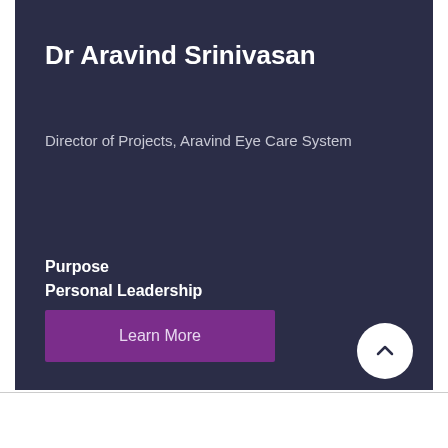Dr Aravind Srinivasan
Director of Projects, Aravind Eye Care System
Purpose
Personal Leadership
Learn More